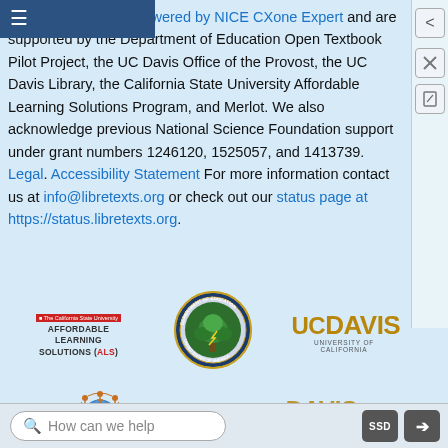eTexts libraries are Powered by NICE CXone Expert and are supported by the Department of Education Open Textbook Pilot Project, the UC Davis Office of the Provost, the UC Davis Library, the California State University Affordable Learning Solutions Program, and Merlot. We also acknowledge previous National Science Foundation support under grant numbers 1246120, 1525057, and 1413739. Legal. Accessibility Statement For more information contact us at info@libretexts.org or check out our status page at https://status.libretexts.org.
[Figure (logo): California State University Affordable Learning Solutions (ALS) logo]
[Figure (logo): U.S. Department of Education seal]
[Figure (logo): UC Davis University of California logo]
[Figure (logo): Partial logos row 2 - Merlot and UC Davis]
How can we help